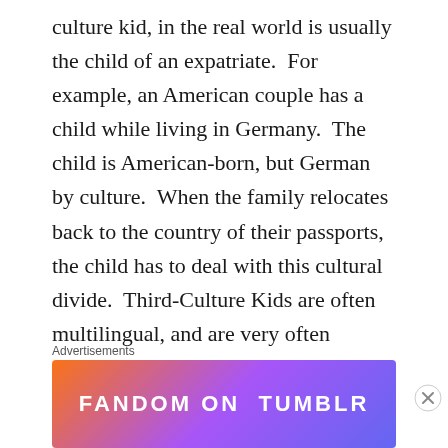culture kid, in the real world is usually the child of an expatriate.  For example, an American couple has a child while living in Germany.  The child is American-born, but German by culture.  When the family relocates back to the country of their passports, the child has to deal with this cultural divide.  Third-Culture Kids are often multilingual, and are very often accomplished.  However, adjusting to their passport country after years of living in other cultures can be incredibly difficult and can take a great deal of time.  This is Worf in a nutshell, although he didn't reintegrate with Klingon culture
Advertisements
[Figure (other): Fandom on Tumblr advertisement banner with colorful gradient background in orange, purple, and blue with white text reading FANDOM ON tumblr]